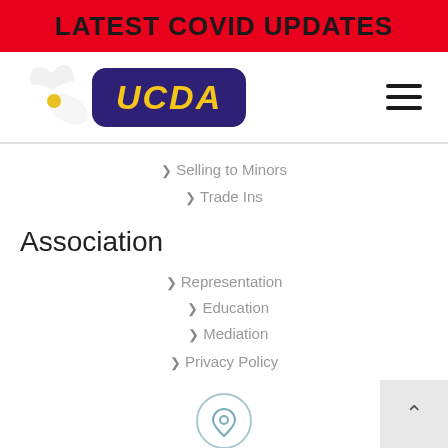LATEST COVID UPDATES
[Figure (logo): UCDA logo with flower and purple badge with yellow UCDA text]
Selling to Minors
Trade Ins
Association
Representation
Education
Mediation
Privacy Policy
[Figure (illustration): Map pin / location icon in a circle]
USED CAR DEALERS ASSOCIATION OF ONTARIO
230 Norseman St.